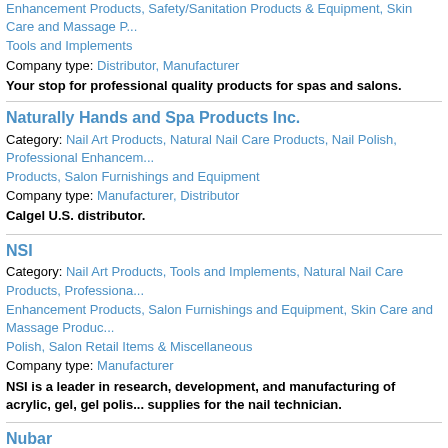Enhancement Products, Safety/Sanitation Products & Equipment, Skin Care and Massage Products, Tools and Implements
Company type: Distributor, Manufacturer
Your stop for professional quality products for spas and salons.
Naturally Hands and Spa Products Inc.
Category: Nail Art Products, Natural Nail Care Products, Nail Polish, Professional Enhancement Products, Salon Furnishings and Equipment
Company type: Manufacturer, Distributor
Calgel U.S. distributor.
NSI
Category: Nail Art Products, Tools and Implements, Natural Nail Care Products, Professional Enhancement Products, Salon Furnishings and Equipment, Skin Care and Massage Products, Nail Polish, Salon Retail Items & Miscellaneous
Company type: Manufacturer
NSI is a leader in research, development, and manufacturing of acrylic, gel, gel polish and supplies for the nail technician.
Nubar
Category: Nail Art Products, Tools and Implements, Natural Nail Care Products, Pedicure Products and Equipment, Safety/Sanitation Products & Equipment, Salon Retail Items & Miscellaneous, Nail Polish, Professional Enhancement Products, Salon Furnishings and Equipment, Skin Care and Massage Products
Company type: Manufacturer